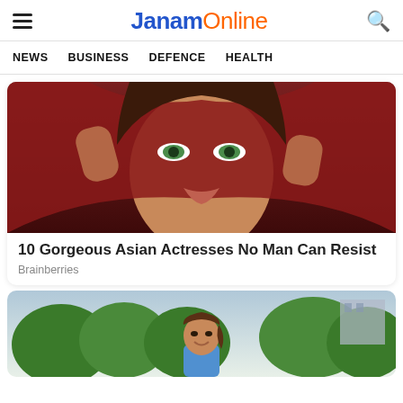JanamOnline
NEWS   BUSINESS   DEFENCE   HEALTH
[Figure (photo): Close-up photo of a woman with striking green eyes wearing a red knit wrap, hands framing her face]
10 Gorgeous Asian Actresses No Man Can Resist
Brainberries
[Figure (photo): Photo of a smiling young woman standing outdoors with trees and a building in the background]